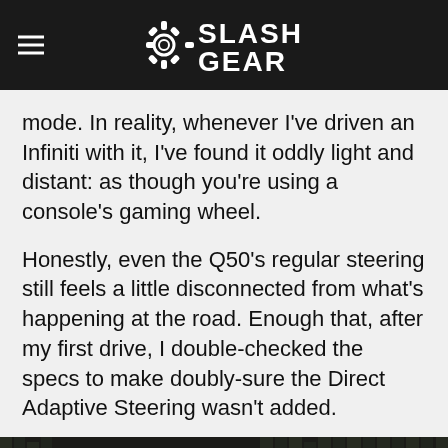SlashGear
mode. In reality, whenever I've driven an Infiniti with it, I've found it oddly light and distant: as though you're using a console's gaming wheel.
Honestly, even the Q50's regular steering still feels a little disconnected from what's happening at the road. Enough that, after my first drive, I double-checked the specs to make doubly-sure the Direct Adaptive Steering wasn't added.
[Figure (photo): Interior photo of a car dashboard, showing the center console and infotainment screen from the driver's perspective, with a wooden fence visible in the background through the windshield.]